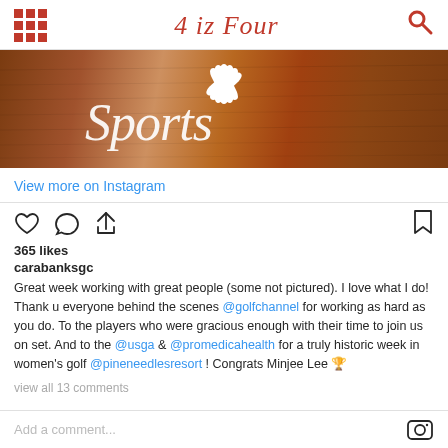4 iz Four
[Figure (photo): NBC Sports logo on a wooden background — white peacock logo and 'Sports' script in white on a wood-grain surface]
View more on Instagram
365 likes
carabanksgc
Great week working with great people (some not pictured). I love what I do! Thank u everyone behind the scenes @golfchannel for working as hard as you do. To the players who were gracious enough with their time to join us on set. And to the @usga & @promedicahealth for a truly historic week in women's golf @pineneedlesresort ! Congrats Minjee Lee 🏆
view all 13 comments
Add a comment...